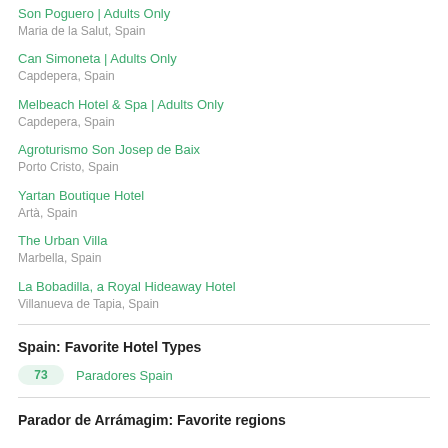Son Poguero | Adults Only
Maria de la Salut, Spain
Can Simoneta | Adults Only
Capdepera, Spain
Melbeach Hotel & Spa | Adults Only
Capdepera, Spain
Agroturismo Son Josep de Baix
Porto Cristo, Spain
Yartan Boutique Hotel
Artà, Spain
The Urban Villa
Marbella, Spain
La Bobadilla, a Royal Hideaway Hotel
Villanueva de Tapia, Spain
Spain: Favorite Hotel Types
73  Paradores Spain
Parador de Arrámagim: Favorite regions